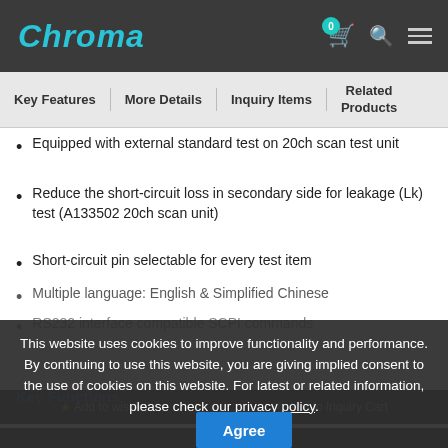Chroma
Key Features | More Details | Inquiry Items | Related Products
Equipped with external standard test on 20ch scan test unit
Reduce the short-circuit loss in secondary side for leakage (Lk) test (A133502 20ch scan unit)
Short-circuit pin selectable for every test item
Multiple language: English & Simplified Chinese
RS232 interface compatible SCPI commands
Key Functions
This website uses cookies to improve functionality and performance. By continuing to use this website, you are giving implied consent to the use of cookies on this website. For latest or related information, please check our privacy policy.
Add to wishlist   Add to Inquiry Cart
Agree
Browsi